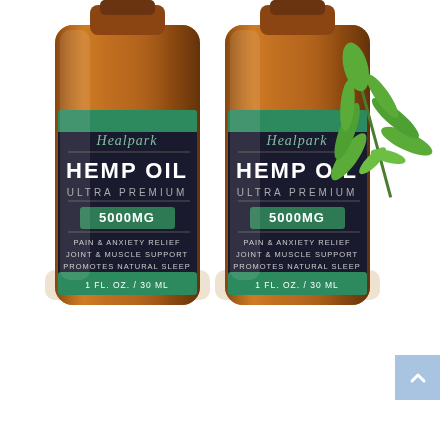[Figure (photo): Two amber glass dropper bottles of Healpark Hemp Oil Ultra Premium 5000MG labeled with Pain & Anxiety Relief, Joint & Muscle Support, Promotes Natural Sleep, 1 FL. OZ. / 30 ML. A green cannabis leaf is visible to the right of the bottles. White background.]